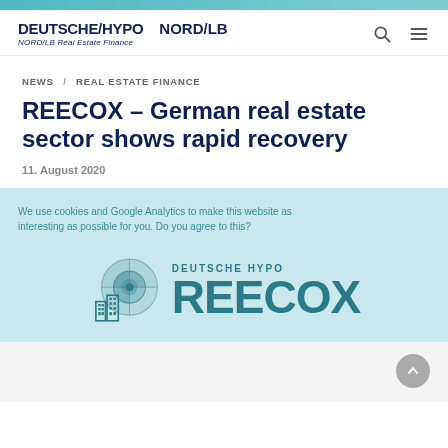DEUTSCHE/HYPO NORD/LB — NORD/LB Real Estate Finance
NEWS / REAL ESTATE FINANCE
REECOX – German real estate sector shows rapid recovery
11. August 2020
[Figure (logo): REECOX logo with Deutsche Hypo branding, circular icon of buildings and radar, teal colored on light blue background, with overlaid cookie consent text]
We use cookies and Google Analytics to make this website as interesting as possible for you. Do you agree to this?